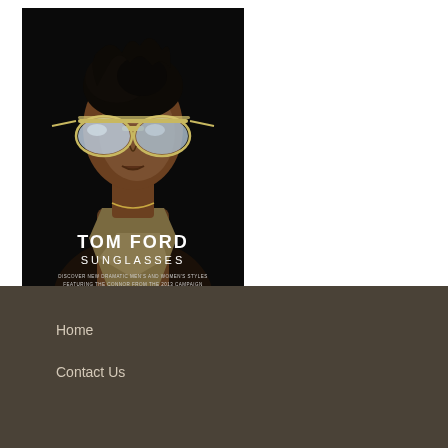[Figure (photo): Tom Ford Sunglasses advertisement. A dark-skinned woman wearing large silver aviator sunglasses looks upward against a black background. Text overlay reads: TOM FORD SUNGLASSES. DISCOVER NEW DRAMATIC MEN'S AND WOMEN'S STYLES FEATURING THE CONNOR FROM THE 2013 CAMPAIGN.]
Home
Contact Us